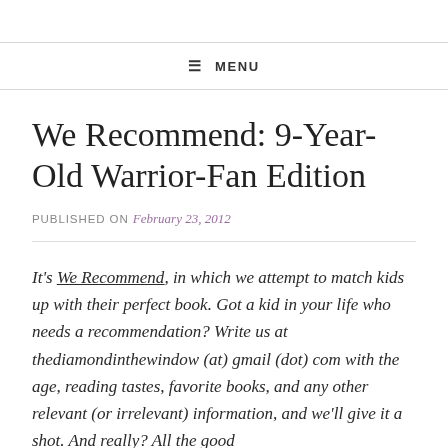≡ MENU
We Recommend: 9-Year-Old Warrior-Fan Edition
PUBLISHED ON February 23, 2012
It's We Recommend, in which we attempt to match kids up with their perfect book. Got a kid in your life who needs a recommendation? Write us at thediamondinthewindow (at) gmail (dot) com with the age, reading tastes, favorite books, and any other relevant (or irrelevant) information, and we'll give it a shot. And really? All the good